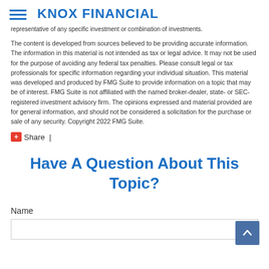KNOX FINANCIAL
representative of any specific investment or combination of investments.
The content is developed from sources believed to be providing accurate information. The information in this material is not intended as tax or legal advice. It may not be used for the purpose of avoiding any federal tax penalties. Please consult legal or tax professionals for specific information regarding your individual situation. This material was developed and produced by FMG Suite to provide information on a topic that may be of interest. FMG Suite is not affiliated with the named broker-dealer, state- or SEC-registered investment advisory firm. The opinions expressed and material provided are for general information, and should not be considered a solicitation for the purchase or sale of any security. Copyright 2022 FMG Suite.
Share  |
Have A Question About This Topic?
Name